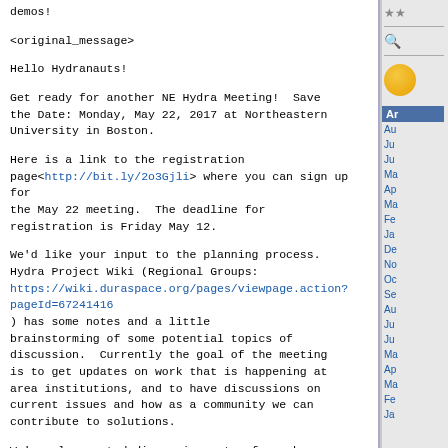demos!
<original_message>
Hello Hydranauts!
Get ready for another NE Hydra Meeting!  Save the Date: Monday, May 22, 2017 at Northeastern University in Boston.
Here is a link to the registration page<http://bit.ly/2o3Gjli> where you can sign up for the May 22 meeting.  The deadline for registration is Friday May 12.
We'd like your input to the planning process.  Hydra Project Wiki (Regional Groups: https://wiki.duraspace.org/pages/viewpage.action?pageId=67241416) has some notes and a little brainstorming of some potential topics of discussion.  Currently the goal of the meeting is to get updates on work that is happening at area institutions, and to have discussions on current issues and how as a community we can contribute to solutions.
We've also posted discussion notes from phone calls the planning group has had to date.  Please give your feedback on what type of meeting you think would be most useful and